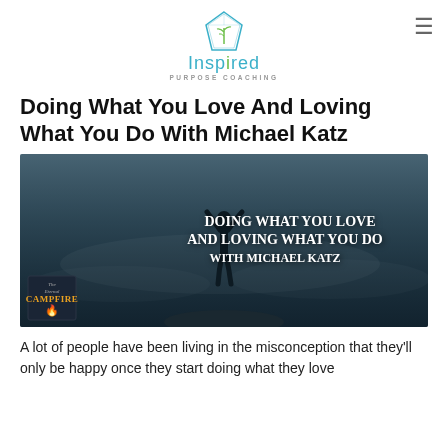[Figure (logo): Inspired Purpose Coaching logo — diamond/gem icon above the text 'Inspired' in teal with 'PURPOSE COACHING' in grey below]
Doing What You Love And Loving What You Do With Michael Katz
[Figure (photo): Promotional podcast/blog image with dark teal background showing a silhouette of a person with arms raised wide, with text overlay reading 'DOING WHAT YOU LOVE AND LOVING WHAT YOU DO WITH MICHAEL KATZ' and a campfire podcast badge in the lower left corner]
A lot of people have been living in the misconception that they'll only be happy once they start doing what they love